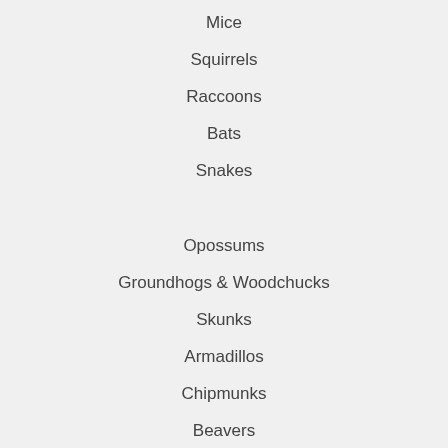Mice
Squirrels
Raccoons
Bats
Snakes
Opossums
Groundhogs & Woodchucks
Skunks
Armadillos
Chipmunks
Beavers
Pigeons
Woodpeckers